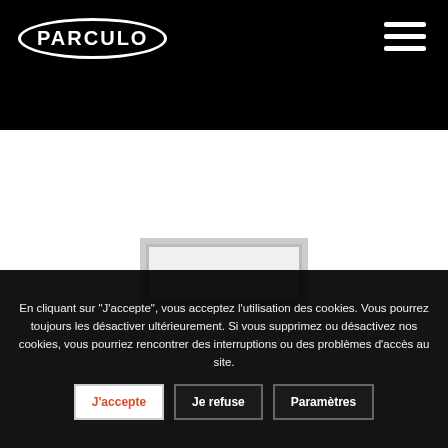[Figure (logo): PARCULO logo: white oval outline with bold white text inside on black background]
[Figure (photo): White product page area with a light gray rectangular product frame/plate at bottom center]
En cliquant sur "J'accepte", vous acceptez l'utilisation des cookies. Vous pourrez toujours les désactiver ultérieurement. Si vous supprimez ou désactivez nos cookies, vous pourriez rencontrer des interruptions ou des problèmes d'accès au site.
J'accepte
Je refuse
Paramètres